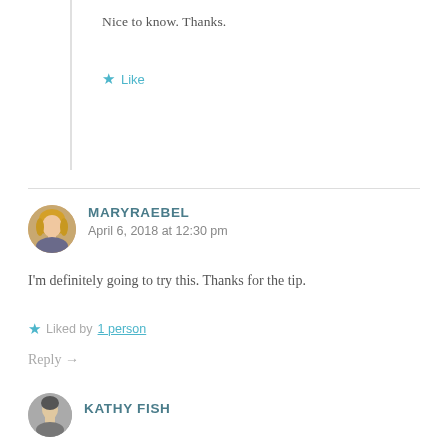Nice to know. Thanks.
★ Like
MARYRAEBEL
April 6, 2018 at 12:30 pm
I'm definitely going to try this. Thanks for the tip.
★ Liked by 1 person
Reply →
KATHY FISH